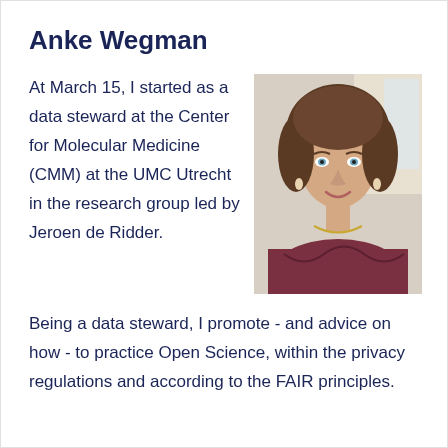Anke Wegman
At March 15, I started as a data steward at the Center for Molecular Medicine (CMM) at the UMC Utrecht in the research group led by Jeroen de Ridder.
[Figure (photo): Portrait photo of Anke Wegman, a woman with curly brown hair and blue eyes, smiling.]
Being a data steward, I promote - and advice on how - to practice Open Science, within the privacy regulations and according to the FAIR principles.